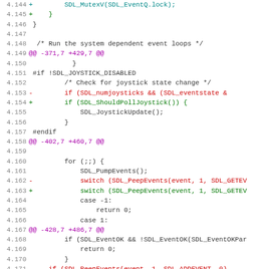[Figure (screenshot): Code diff view showing changes to SDL event handling code, lines 4.144 through 4.176, with line numbers on left, red lines for removed code, green lines for added code, purple for diff headers, and normal color for context lines.]